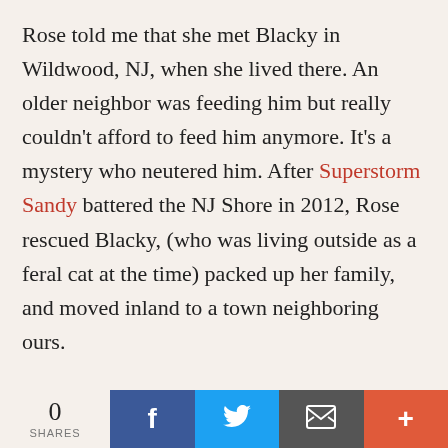Rose told me that she met Blacky in Wildwood, NJ, when she lived there. An older neighbor was feeding him but really couldn't afford to feed him anymore. It's a mystery who neutered him. After Superstorm Sandy battered the NJ Shore in 2012, Rose rescued Blacky, (who was living outside as a feral cat at the time) packed up her family, and moved inland to a town neighboring ours.
Sandy was a horrendous storm that destroyed parts of the Jersey Shore. Blacky lived about 75 miles South of the worst damage, but Wildwood, NJ also
0 SHARES | Facebook | Twitter | Email | +